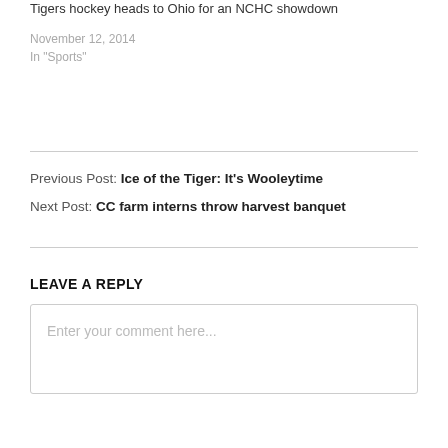Tigers hockey heads to Ohio for an NCHC showdown
November 12, 2014
In "Sports"
Previous Post: Ice of the Tiger: It's Wooleytime
Next Post: CC farm interns throw harvest banquet
LEAVE A REPLY
Enter your comment here...